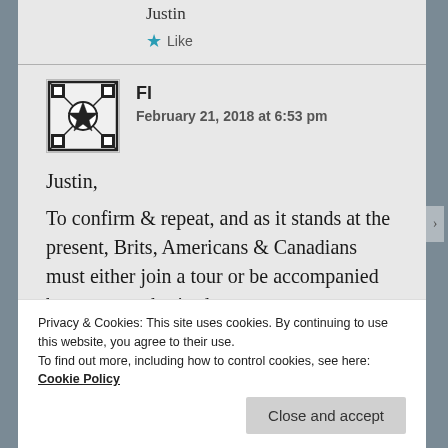Justin
★ Like
FI
February 21, 2018 at 6:53 pm
Justin,
To confirm & repeat, and as it stands at the present, Brits, Americans & Canadians must either join a tour or be accompanied by a state authorised
Privacy & Cookies: This site uses cookies. By continuing to use this website, you agree to their use.
To find out more, including how to control cookies, see here: Cookie Policy
Close and accept